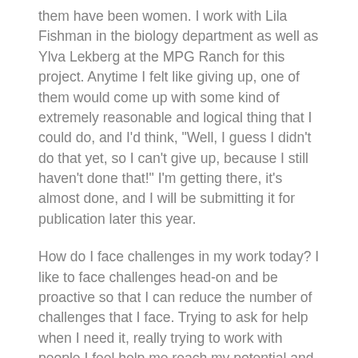them have been women. I work with Lila Fishman in the biology department as well as Ylva Lekberg at the MPG Ranch for this project. Anytime I felt like giving up, one of them would come up with some kind of extremely reasonable and logical thing that I could do, and I'd think, "Well, I guess I didn't do that yet, so I can't give up, because I still haven't done that!" I'm getting there, it's almost done, and I will be submitting it for publication later this year.
How do I face challenges in my work today? I like to face challenges head-on and be proactive so that I can reduce the number of challenges that I face. Trying to ask for help when I need it, really trying to work with people I feel help me reach my potential and help me realize what my potential is.
JD: What have you done so far in your career to build your confidence and overcome doubts? Or advice other people have offered to you?